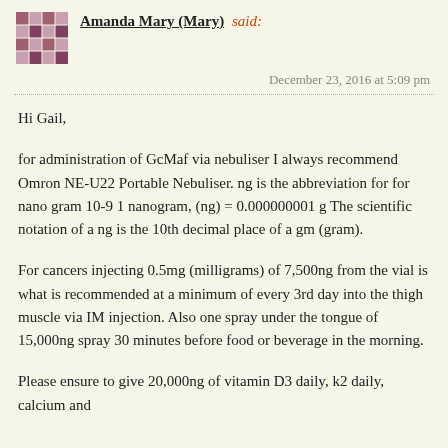Amanda Mary (Mary) said:
December 23, 2016 at 5:09 pm
Hi Gail,
for administration of GcMaf via nebuliser I always recommend Omron NE-U22 Portable Nebuliser. ng is the abbreviation for for nano gram 10-9 1 nanogram, (ng) = 0.000000001 g The scientific notation of a ng is the 10th decimal place of a gm (gram).
For cancers injecting 0.5mg (milligrams) of 7,500ng from the vial is what is recommended at a minimum of every 3rd day into the thigh muscle via IM injection. Also one spray under the tongue of 15,000ng spray 30 minutes before food or beverage in the morning.
Please ensure to give 20,000ng of vitamin D3 daily, k2 daily, calcium and